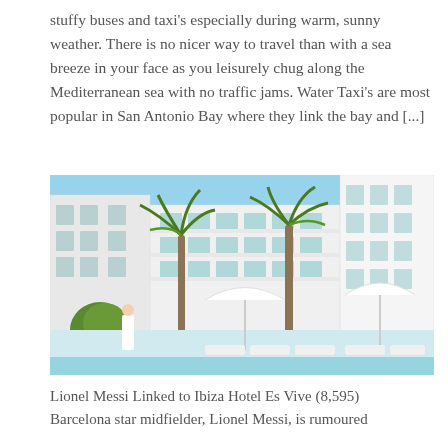stuffy buses and taxi's especially during warm, sunny weather. There is no nicer way to travel than with a sea breeze in your face as you leisurely chug along the Mediterranean sea with no traffic jams. Water Taxi's are most popular in San Antonio Bay where they link the bay and [...]
[Figure (photo): Photograph of a white Mediterranean hotel building with palm trees and pool loungers in the foreground, blue sky above.]
Lionel Messi Linked to Ibiza Hotel Es Vive (8,595) Barcelona star midfielder, Lionel Messi, is rumoured